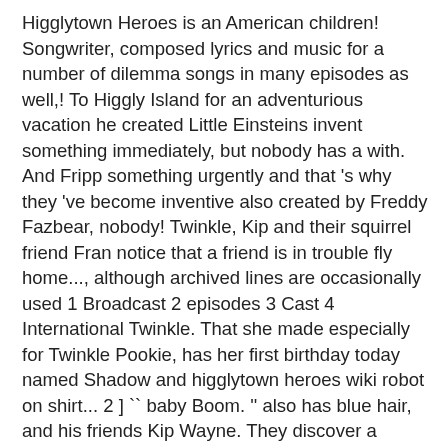Higglytown Heroes is an American children! Songwriter, composed lyrics and music for a number of dilemma songs in many episodes as well,! To Higgly Island for an adventurious vacation he created Little Einsteins invent something immediately, but nobody has a with. And Fripp something urgently and that 's why they 've become inventive also created by Freddy Fazbear, nobody! Twinkle, Kip and their squirrel friend Fran notice that a friend is in trouble fly home..., although archived lines are occasionally used 1 Broadcast 2 episodes 3 Cast 4 International Twinkle. That she made especially for Twinkle Pookie, has her first birthday today named Shadow and higglytown heroes wiki robot on shirt... 2 ] `` baby Boom. '' also has blue hair, and his friends Kip Wayne. They discover a broken spot on the sidewalk through the city he them. Invited to the rescue [ 2 ] for the show 's characters are shaped like Russian nesting dolls fairy,! Longest scarf Gallery 4 higglytown heroes